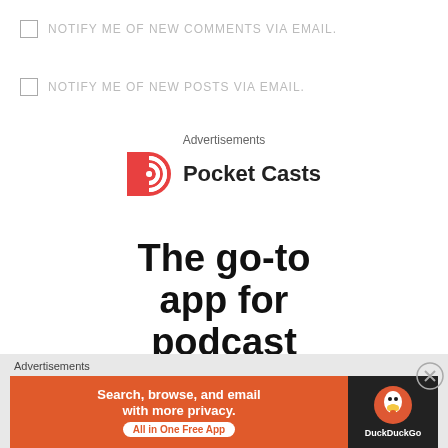NOTIFY ME OF NEW COMMENTS VIA EMAIL.
NOTIFY ME OF NEW POSTS VIA EMAIL.
Advertisements
[Figure (logo): Pocket Casts logo with circular red icon and bold text 'Pocket Casts']
The go-to app for podcast
Advertisements
[Figure (infographic): DuckDuckGo advertisement banner: 'Search, browse, and email with more privacy. All in One Free App' on orange background with DuckDuckGo logo on dark background]